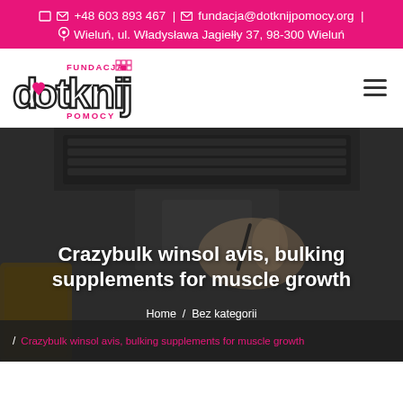+48 603 893 467 | fundacja@dotknijpomocy.org | Wieluń, ul. Władysława Jagiełły 37, 98-300 Wieluń
[Figure (logo): Fundacja Dotknij Pomocy logo with stylized text 'dotknij' and heart icon]
Crazybulk winsol avis, bulking supplements for muscle growth
Home / Bez kategorii
Crazybulk winsol avis, bulking supplements for muscle growth